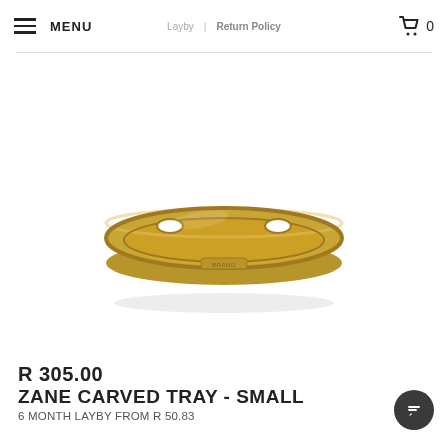MENU | Return Policy | Cart 0
[Figure (photo): Gold/brass round carved tray with cutout handles, viewed from a slightly elevated angle. The tray has a raised rim and appears to have a brand label on the front.]
R 305.00 ZANE CARVED TRAY - SMALL
6 MONTH LAYBY FROM R 50.83